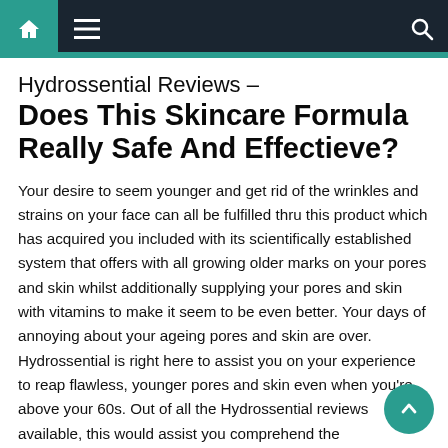Navigation bar with home, menu, and search icons
Hydrossential Reviews – Does This Skincare Formula Really Safe And Effectieve?
Your desire to seem younger and get rid of the wrinkles and strains on your face can all be fulfilled thru this product which has acquired you included with its scientifically established system that offers with all growing older marks on your pores and skin whilst additionally supplying your pores and skin with vitamins to make it seem to be even better. Your days of annoying about your ageing pores and skin are over. Hydrossential is right here to assist you on your experience to reap flawless, younger pores and skin even when you're above your 60s. Out of all the Hydrossential reviews available, this would assist you comprehend the